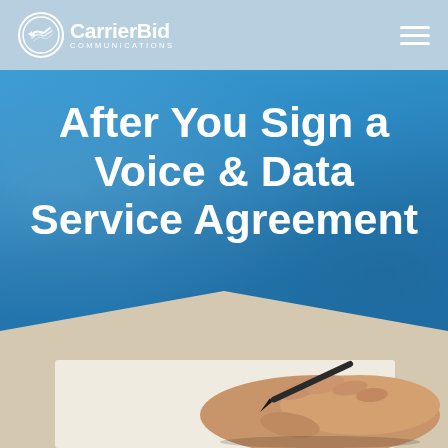CarrierBid Communications
After You Sign a Voice & Data Service Agreement
[Figure (photo): Close-up photo of a hand holding a pen, signing a document, partially visible at the bottom of the page]